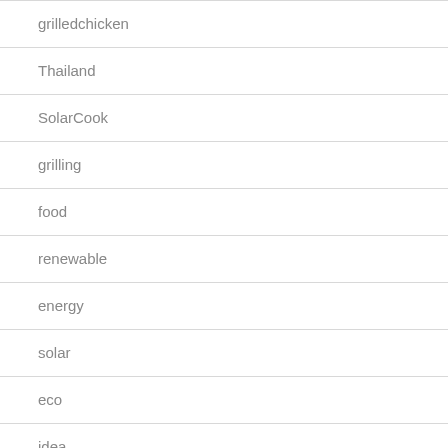| grilledchicken |
| Thailand |
| SolarCook |
| grilling |
| food |
| renewable |
| energy |
| solar |
| eco |
| idea |
| green |